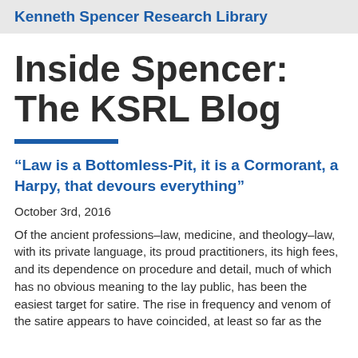Kenneth Spencer Research Library
Inside Spencer: The KSRL Blog
“Law is a Bottomless-Pit, it is a Cormorant, a Harpy, that devours everything”
October 3rd, 2016
Of the ancient professions–law, medicine, and theology–law, with its private language, its proud practitioners, its high fees, and its dependence on procedure and detail, much of which has no obvious meaning to the lay public, has been the easiest target for satire. The rise in frequency and venom of the satire appears to have coincided, at least so far as the